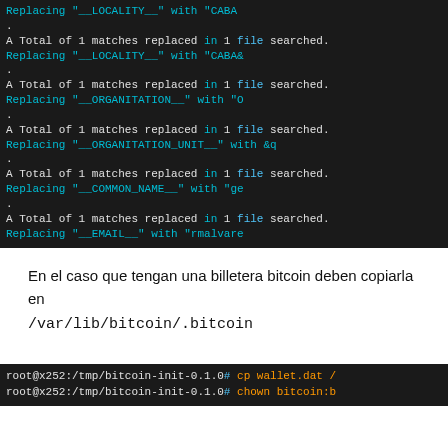[Figure (screenshot): Terminal output showing multiple 'A Total of 1 matches replaced in 1 file searched.' messages with Replacing placeholders lines, followed by RSA key generation and a shell prompt.]
En el caso que tengan una billetera bitcoin deben copiarla en /var/lib/bitcoin/.bitcoin
[Figure (screenshot): Terminal showing root@x252:/tmp/bitcoin-init-0.1.0# cp wallet.dat / and root@x252:/tmp/bitcoin-init-0.1.0# chown bitcoin:b]